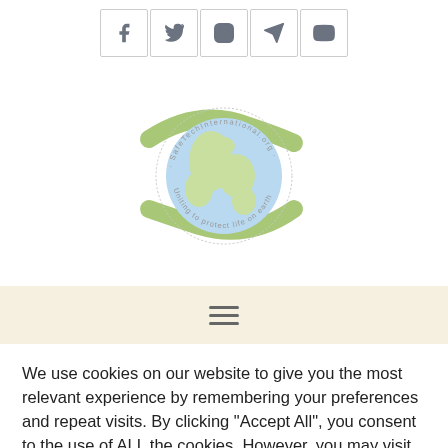[Figure (other): Row of five social media icon buttons: Facebook, Twitter, Instagram, Telegram, YouTube]
[Figure (logo): SafeTechInternational.org logo — two green hands cradling a globe, circular text reading 'SafeTechInternational.org · Uniting to protect life on earth']
[Figure (other): Beige navigation bar with hamburger menu icon (three horizontal lines)]
We use cookies on our website to give you the most relevant experience by remembering your preferences and repeat visits. By clicking "Accept All", you consent to the use of ALL the cookies. However, you may visit "Cookie Settings" to provide a controlled consent.
Cookie Settings | Accept All